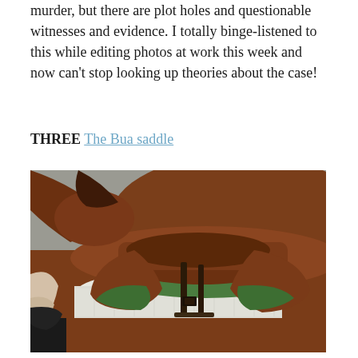murder, but there are plot holes and questionable witnesses and evidence. I totally binge-listened to this while editing photos at work this week and now can't stop looking up theories about the case!
THREE The Bua saddle
[Figure (photo): Close-up photograph of a brown leather horse saddle with green accents/padding placed on a horse's back, with a white saddle pad underneath. A person's hand is partially visible on the left side.]